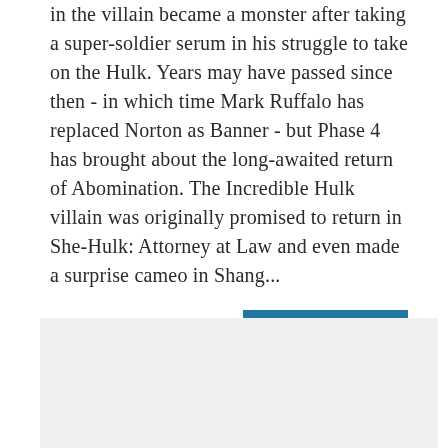in the villain became a monster after taking a super-soldier serum in his struggle to take on the Hulk. Years may have passed since then - in which time Mark Ruffalo has replaced Norton as Banner - but Phase 4 has brought about the long-awaited return of Abomination. The Incredible Hulk villain was originally promised to return in She-Hulk: Attorney at Law and even made a surprise cameo in Shang...
Read More